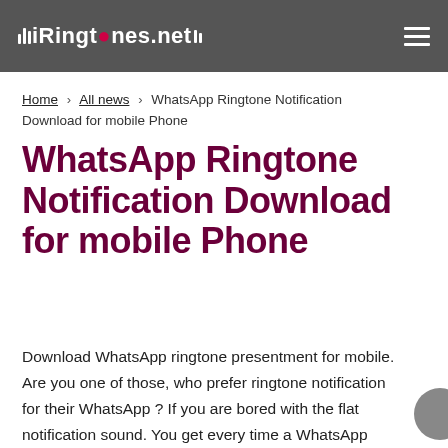iRingtones.net
Home > All news > WhatsApp Ringtone Notification Download for mobile Phone
WhatsApp Ringtone Notification Download for mobile Phone
Download WhatsApp ringtone presentment for mobile. Are you one of those, who prefer ringtone notification for their WhatsApp ? If you are bored with the flat notification sound. You get every time a WhatsApp presentment pops up, then you must